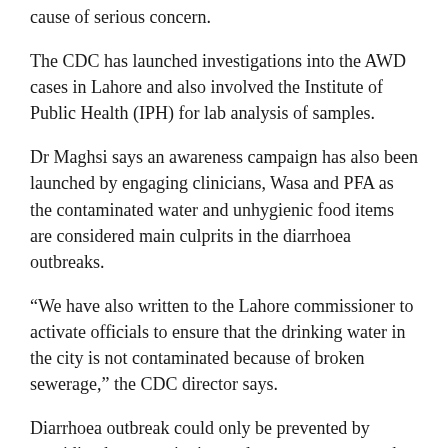cause of serious concern.
The CDC has launched investigations into the AWD cases in Lahore and also involved the Institute of Public Health (IPH) for lab analysis of samples.
Dr Maghsi says an awareness campaign has also been launched by engaging clinicians, Wasa and PFA as the contaminated water and unhygienic food items are considered main culprits in the diarrhoea outbreaks.
“We have also written to the Lahore commissioner to activate officials to ensure that the drinking water in the city is not contaminated because of broken sewerage,” the CDC director says.
Diarrhoea outbreak could only be prevented by providing better sanitation and sewerage systems, he adds.